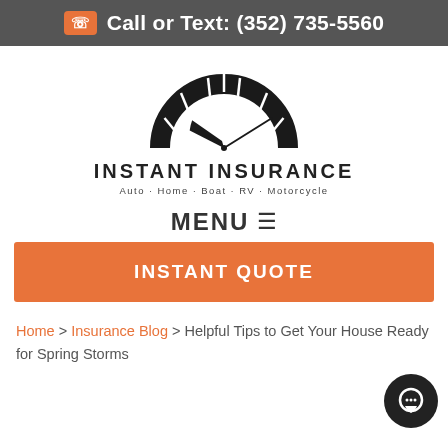Call or Text: (352) 735-5560
[Figure (logo): Instant Insurance logo with speedometer arc graphic and tagline: Auto - Home - Boat - RV - Motorcycle]
MENU
INSTANT QUOTE
Home > Insurance Blog > Helpful Tips to Get Your House Ready for Spring Storms